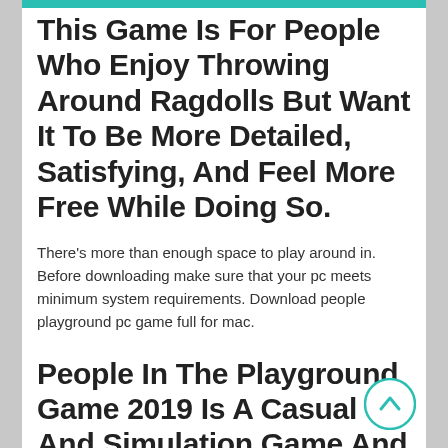This Game Is For People Who Enjoy Throwing Around Ragdolls But Want It To Be More Detailed, Satisfying, And Feel More Free While Doing So.
There's more than enough space to play around in. Before downloading make sure that your pc meets minimum system requirements. Download people playground pc game full for mac.
People In The Playground Game 2019 Is A Casual And Simulation Game And Its Very Addictive Shoot, Stab, Burn, Poison, Tear, Vaporise